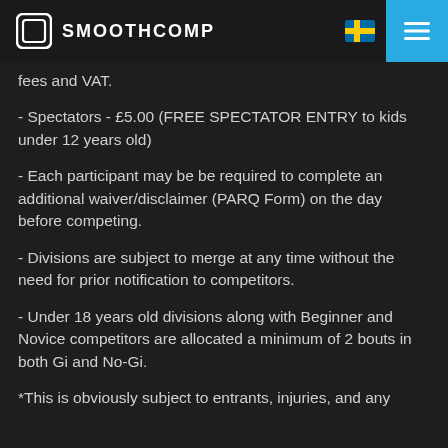SMOOTHCOMP
fees and VAT.
- Spectators - £5.00 (FREE SPECTATOR ENTRY to kids under 12 years old)
- Each participant may be be required to complete an additional waiver/disclaimer (PARQ Form) on the day before competing.
- Divisions are subject to merge at any time without the need for prior notification to competitors.
- Under 18 years old divisions along with Beginner and Novice competitors are allocated a minimum of 2 bouts in both Gi and No-Gi.
*This is obviously subject to entrants, injuries, and any